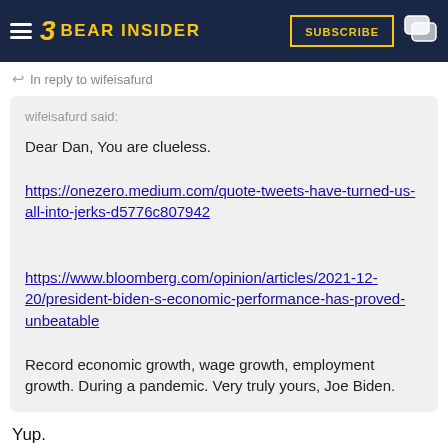Bear Insider — Subscribe
In reply to wifeisafurd
wifeisafurd said:

Dear Dan, You are clueless.

https://onezero.medium.com/quote-tweets-have-turned-us-all-into-jerks-d5776c807942

https://www.bloomberg.com/opinion/articles/2021-12-20/president-biden-s-economic-performance-has-proved-unbeatable

Record economic growth, wage growth, employment growth. During a pandemic. Very truly yours, Joe Biden.
Yup.
Going for Roseshasnt demonstrated any ability to critically think.